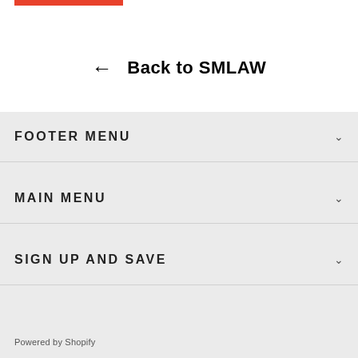[Figure (other): Red horizontal bar at top left]
← Back to SMLAW
FOOTER MENU
MAIN MENU
SIGN UP AND SAVE
Powered by Shopify